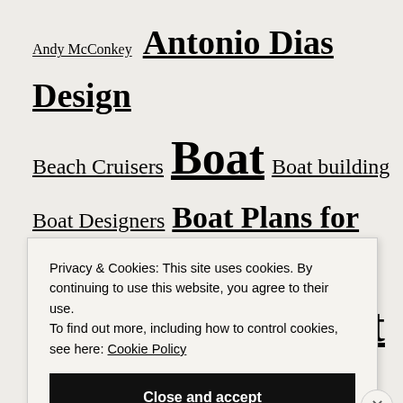Andy McConkey  Antonio Dias Design
Beach Cruisers  Boat  Boat building
Boat Designers  Boat Plans for Sale
Boats for difficult times
Boats I'd Like to Design  Camp Cruiser
Privacy & Cookies: This site uses cookies. By continuing to use this website, you agree to their use.
To find out more, including how to control cookies, see here: Cookie Policy
Close and accept